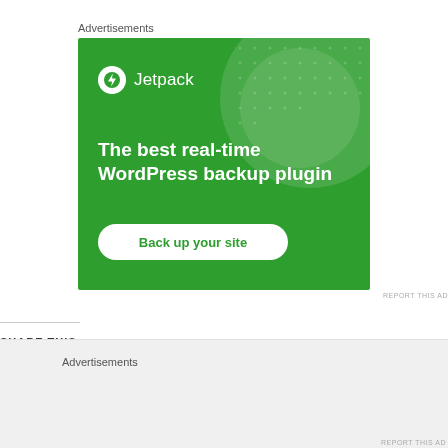Advertisements
[Figure (illustration): Jetpack advertisement banner with green background. Shows Jetpack logo (circle with lightning bolt icon) and text 'Jetpack'. Large white headline reads 'The best real-time WordPress backup plugin'. White rounded button at bottom reads 'Back up your site'. Decorative large translucent circle in upper right, dot pattern in upper right corner.]
REPORT THIS AD
SHARE THIS:
Advertisements
REPORT THIS AD